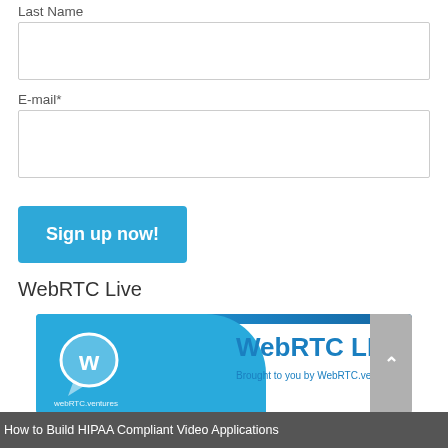Last Name
E-mail*
[Figure (screenshot): Sign up now! button in blue with white text]
WebRTC Live
[Figure (logo): WebRTC LIVE banner brought to you by WebRTC.ventures, with blue background and logo on the left]
How to Build HIPAA Compliant Video Applications